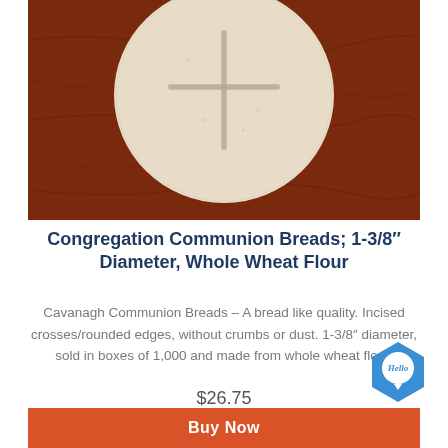[Figure (photo): A round communion wafer/bread with an incised cross on top, placed on a dark reddish-brown leather or cloth background.]
Congregation Communion Breads; 1-3/8″ Diameter, Whole Wheat Flour
Cavanagh Communion Breads – A bread like quality. Incised crosses/rounded edges, without crumbs or dust. 1-3/8″ diameter, sold in boxes of 1,000 and made from whole wheat flour.
$26.75
[Figure (logo): Blue hexagonal chat badge with 'Hello' text inside]
Buy Now